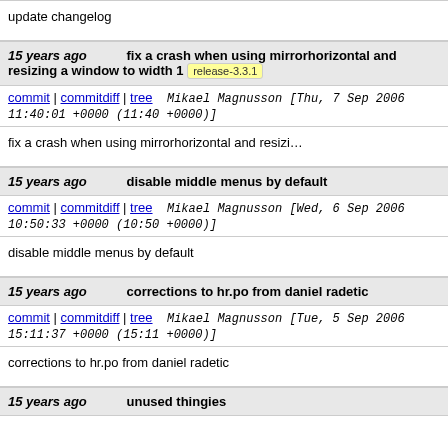update changelog
15 years ago   fix a crash when using mirrorhorizontal and resizing a window to width 1   release-3.3.1
commit | commitdiff | tree   Mikael Magnusson [Thu, 7 Sep 2006 11:40:01 +0000 (11:40 +0000)]
fix a crash when using mirrorhorizontal and resizi...
15 years ago   disable middle menus by default
commit | commitdiff | tree   Mikael Magnusson [Wed, 6 Sep 2006 10:50:33 +0000 (10:50 +0000)]
disable middle menus by default
15 years ago   corrections to hr.po from daniel radetic
commit | commitdiff | tree   Mikael Magnusson [Tue, 5 Sep 2006 15:11:37 +0000 (15:11 +0000)]
corrections to hr.po from daniel radetic
15 years ago   unused thingies